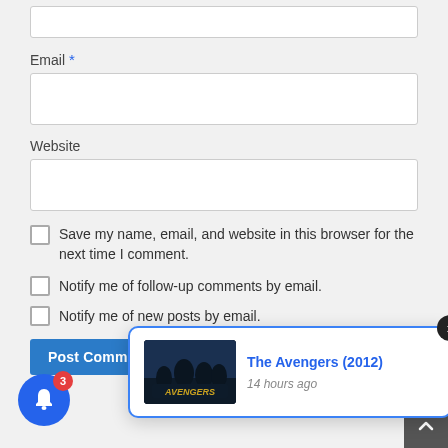[Figure (screenshot): Partial top input box (cropped at top of page)]
Email *
[Figure (screenshot): Email input text field]
Website
[Figure (screenshot): Website input text field]
Save my name, email, and website in this browser for the next time I comment.
Notify me of follow-up comments by email.
Notify me of new posts by email.
Post Comment
[Figure (screenshot): Notification popup showing The Avengers (2012) movie, 14 hours ago, with close button X]
[Figure (screenshot): Blue bell notification button with badge showing 3]
[Figure (screenshot): Dark scroll-to-top arrow button at bottom right]